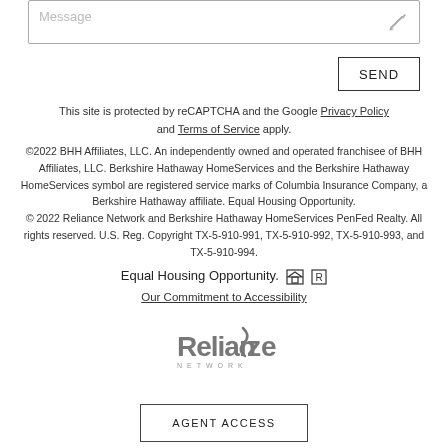[Figure (screenshot): Message input text box with pencil/edit icon in top-right corner]
[Figure (screenshot): SEND button with border]
This site is protected by reCAPTCHA and the Google Privacy Policy and Terms of Service apply.
©2022 BHH Affiliates, LLC. An independently owned and operated franchisee of BHH Affiliates, LLC. Berkshire Hathaway HomeServices and the Berkshire Hathaway HomeServices symbol are registered service marks of Columbia Insurance Company, a Berkshire Hathaway affiliate. Equal Housing Opportunity.
© 2022 Reliance Network and Berkshire Hathaway HomeServices PenFed Realty. All rights reserved. U.S. Reg. Copyright TX-5-910-991, TX-5-910-992, TX-5-910-993, and TX-5-910-994.
Equal Housing Opportunity. [EHO icons]
Our Commitment to Accessibility
[Figure (logo): Reliance Network logo in gray]
[Figure (screenshot): AGENT ACCESS button with border]